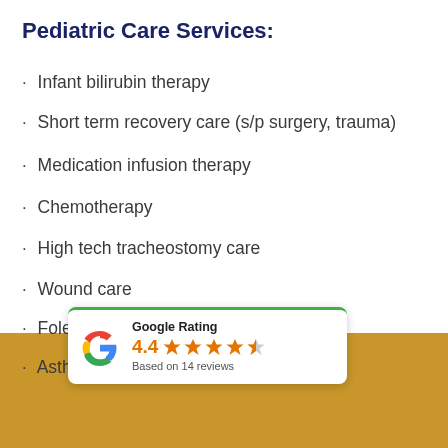Pediatric Care Services:
Infant bilirubin therapy
Short term recovery care (s/p surgery, trauma)
Medication infusion therapy
Chemotherapy
High tech tracheostomy care
Wound care
Foley catheter care
Asthma care
[Figure (other): Google Rating widget showing 4.4 stars based on 14 reviews, with Google G logo and green top border]